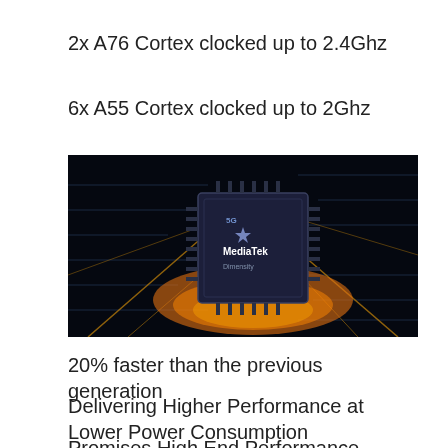2x A76 Cortex clocked up to 2.4Ghz
6x A55 Cortex clocked up to 2Ghz
[Figure (photo): MediaTek Dimensity 5G chip processor glowing with orange/amber light on a dark circuit board background]
20% faster than the previous generation
Delivering Higher Performance at Lower Power Consumption
Promises High End Performance